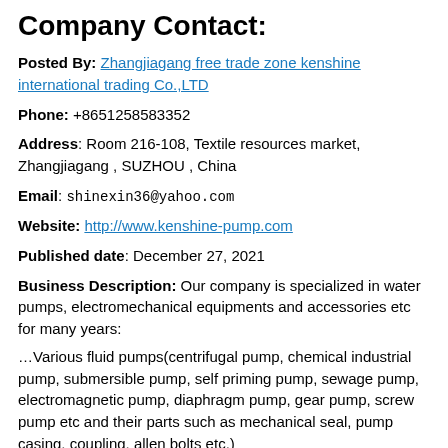Company Contact:
Posted By: Zhangjiagang free trade zone kenshine international trading Co.,LTD
Phone: +8651258583352
Address: Room 216-108, Textile resources market, Zhangjiagang , SUZHOU , China
Email: shinexin36@yahoo.com
Website: http://www.kenshine-pump.com
Published date: December 27, 2021
Business Description: Our company is specialized in water pumps, electromechanical equipments and accessories etc for many years:
…Various fluid pumps(centrifugal pump, chemical industrial pump, submersible pump, self priming pump, sewage pump, electromagnetic pump, diaphragm pump, gear pump, screw pump etc and their parts such as mechanical seal, pump casing, coupling, allen bolts etc.)